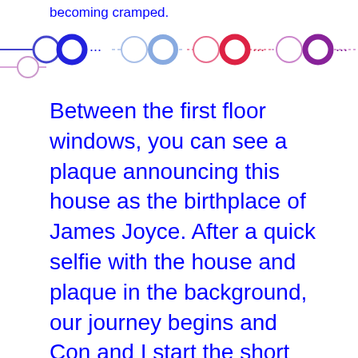becoming cramped.
[Figure (infographic): A horizontal navigation strip showing pairs of circles (outlined and filled) connected by dotted lines in alternating colors: blue, light blue, red/pink, and purple.]
Between the first floor windows, you can see a plaque announcing this house as the birthplace of James Joyce. After a quick selfie with the house and plaque in the background, our journey begins and Con and I start the short cycle to Joyce’s second home.